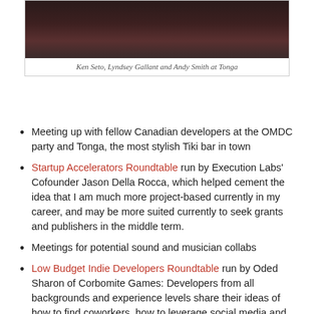[Figure (photo): Black and white/dark photo of people at Tonga bar]
Ken Seto, Lyndsey Gallant and Andy Smith at Tonga
Meeting up with fellow Canadian developers at the OMDC party and Tonga, the most stylish Tiki bar in town
Startup Accelerators Roundtable run by Execution Labs' Cofounder Jason Della Rocca, which helped cement the idea that I am much more project-based currently in my career, and may be more suited currently to seek grants and publishers in the middle term.
Meetings for potential sound and musician collabs
Low Budget Indie Developers Roundtable run by Oded Sharon of Corbomite Games: Developers from all backgrounds and experience levels share their ideas of how to find coworkers, how to leverage social media and Kickstarter, and how to keep motivated
Date dinners and bonding time in North Beach, Union